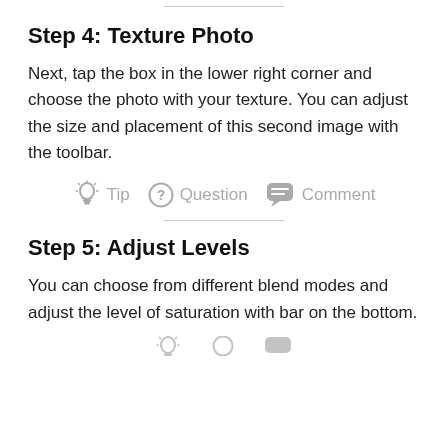Step 4: Texture Photo
Next, tap the box in the lower right corner and choose the photo with your texture. You can adjust the size and placement of this second image with the toolbar.
[Figure (infographic): Row of three icons with labels: Tip (lightbulb icon), Question (circle question mark icon), Comment (speech bubble icon)]
Step 5: Adjust Levels
You can choose from different blend modes and adjust the level of saturation with bar on the bottom.